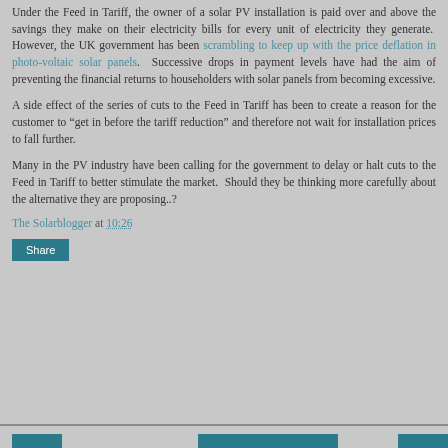Under the Feed in Tariff, the owner of a solar PV installation is paid over and above the savings they make on their electricity bills for every unit of electricity they generate. However, the UK government has been scrambling to keep up with the price deflation in photo-voltaic solar panels. Successive drops in payment levels have had the aim of preventing the financial returns to householders with solar panels from becoming excessive.
A side effect of the series of cuts to the Feed in Tariff has been to create a reason for the customer to "get in before the tariff reduction" and therefore not wait for installation prices to fall further.
Many in the PV industry have been calling for the government to delay or halt cuts to the Feed in Tariff to better stimulate the market. Should they be thinking more carefully about the alternative they are proposing..?
The Solarblogger at 10:26